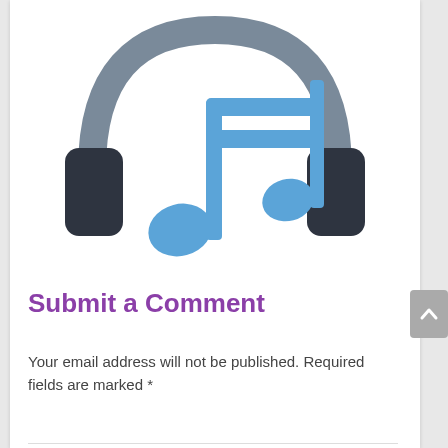[Figure (illustration): Illustration of headphones (dark grey ear cups with grey band) overlapping with two blue musical notes (beamed eighth notes), centered on white background.]
Submit a Comment
Your email address will not be published. Required fields are marked *